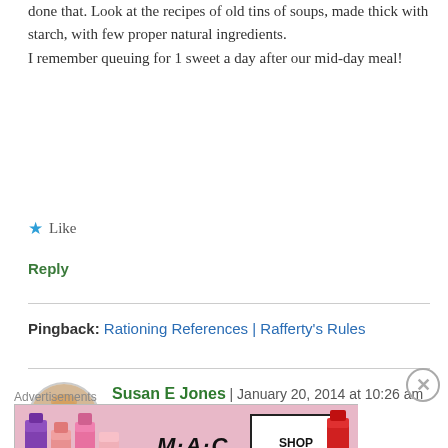done that. Look at the recipes of old tins of soups, made thick with starch, with few proper natural ingredients.
I remember queuing for 1 sweet a day after our mid-day meal!
★ Like
Reply
Pingback: Rationing References | Rafferty's Rules
[Figure (photo): Avatar photo of Susan E Jones, a woman with blonde hair and glasses]
Susan E Jones | January 20, 2014 at 10:26 am
👍 2 👎 2 ℹ Rate This
David
[Figure (advertisement): MAC cosmetics advertisement showing lipsticks with SHOP NOW button]
Advertisements